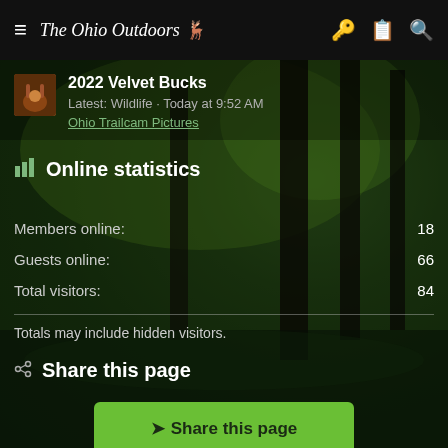The Ohio Outdoors
2022 Velvet Bucks
Latest: Wildlife · Today at 9:52 AM
Ohio Trailcam Pictures
Online statistics
|  |  |
| --- | --- |
| Members online: | 18 |
| Guests online: | 66 |
| Total visitors: | 84 |
Totals may include hidden visitors.
Share this page
Share this page